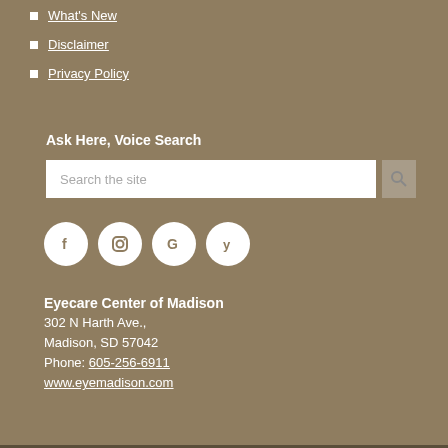What's New
Disclaimer
Privacy Policy
Ask Here, Voice Search
Search the site
[Figure (infographic): Social media icons: Facebook, Instagram, Google, Yelp]
Eyecare Center of Madison
302 N Harth Ave.,
Madison, SD 57042
Phone: 605-256-6911
www.eyemadison.com